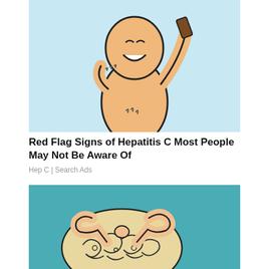[Figure (illustration): Cartoon illustration of a stick-figure person talking on a phone, with marks on shoulder and abdomen suggesting itching or pain, on a light blue background]
Red Flag Signs of Hepatitis C Most People May Not Be Aware Of
Hep C | Search Ads
[Figure (illustration): Illustrated image of hands pulling/squeezing a brain-like object with swirling patterns, on a teal background]